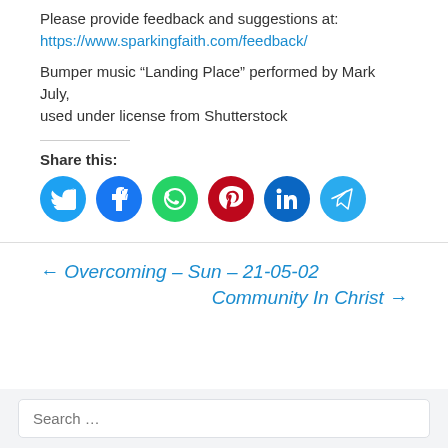Please provide feedback and suggestions at:
https://www.sparkingfaith.com/feedback/
Bumper music “Landing Place” performed by Mark July, used under license from Shutterstock
Share this:
[Figure (infographic): Row of six social media share buttons: Twitter (blue), Facebook (dark blue), WhatsApp (green), Pinterest (red), LinkedIn (dark blue), Telegram (light blue)]
← Overcoming – Sun – 21-05-02
Community In Christ →
Search …